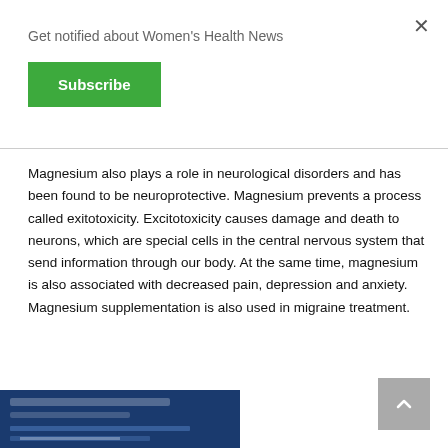Get notified about Women's Health News
Subscribe
Magnesium also plays a role in neurological disorders and has been found to be neuroprotective. Magnesium prevents a process called exitotoxicity. Excitotoxicity causes damage and death to neurons, which are special cells in the central nervous system that send information through our body. At the same time, magnesium is also associated with decreased pain, depression and anxiety. Magnesium supplementation is also used in migraine treatment.
[Figure (photo): Partial view of a book or medical publication with dark blue cover]